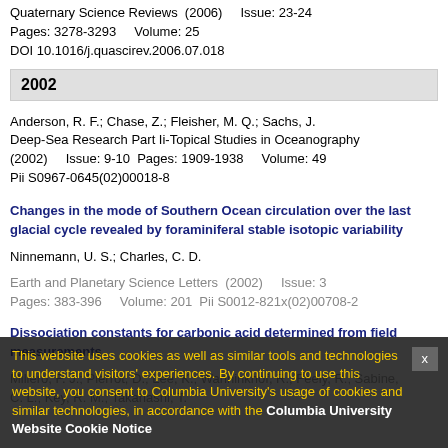Quaternary Science Reviews  (2006)    Issue: 23-24
Pages: 3278-3293    Volume: 25
DOI 10.1016/j.quascirev.2006.07.018
2002
Anderson, R. F.; Chase, Z.; Fleisher, M. Q.; Sachs, J.
Deep-Sea Research Part Ii-Topical Studies in Oceanography
(2002)    Issue: 9-10  Pages: 1909-1938    Volume: 49
Pii S0967-0645(02)00018-8
Changes in the mode of Southern Ocean circulation over the last glacial cycle revealed by foraminiferal stable isotopic variability
Ninnemann, U. S.; Charles, C. D.
Earth and Planetary Science Letters  (2002)    Issue: 3
Pages: 383-396    Volume: 201  Pii S0012-821x(02)00708-2
Dissociation constants for carbonic acid determined from field measurements
Millero, F. J.; Pierrot, D.; Lee, K.; Wanninkhof, R.; Feely, R.; Sabine, C. L.; Key, R. M.; Takahashi, T.
Cookie Notice: This website uses cookies as well as similar tools and technologies to understand visitors' experiences. By continuing to use this website, you consent to Columbia University's usage of cookies and similar technologies, in accordance with the Columbia University Website Cookie Notice